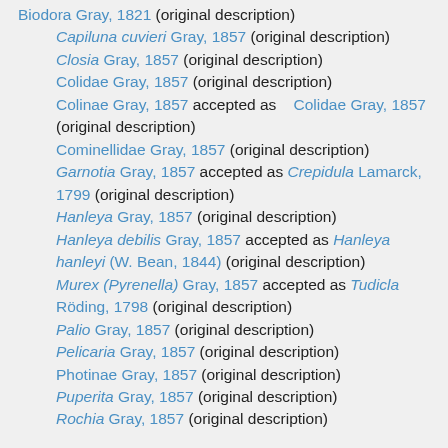Biodora Gray, 1821 (original description)
Capiluna cuvieri Gray, 1857 (original description)
Closia Gray, 1857 (original description)
Colidae Gray, 1857 (original description)
Colinae Gray, 1857 accepted as Colidae Gray, 1857 (original description)
Cominellidae Gray, 1857 (original description)
Garnotia Gray, 1857 accepted as Crepidula Lamarck, 1799 (original description)
Hanleya Gray, 1857 (original description)
Hanleya debilis Gray, 1857 accepted as Hanleya hanleyi (W. Bean, 1844) (original description)
Murex (Pyrenella) Gray, 1857 accepted as Tudicla Röding, 1798 (original description)
Palio Gray, 1857 (original description)
Pelicaria Gray, 1857 (original description)
Photinae Gray, 1857 (original description)
Puperita Gray, 1857 (original description)
Rochia Gray, 1857 (original description)